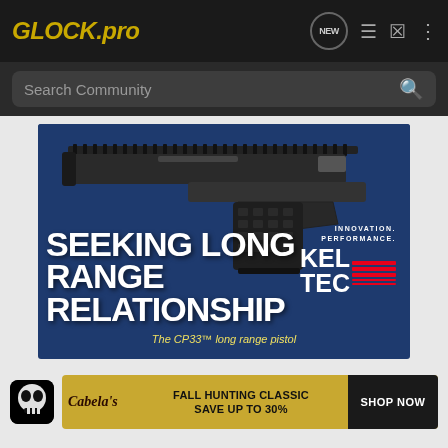GLOCK.pro
Search Community
[Figure (photo): Kel-Tec CP33 long range pistol advertisement on dark blue background. Text reads: INNOVATION. PERFORMANCE. KEL TEC. SEEKING LONG RANGE RELATIONSHIP. The CP33™ long range pistol.]
[Figure (photo): Cabela's FALL HUNTING CLASSIC SAVE UP TO 30% advertisement banner with SHOP NOW button. User avatar showing skull icon.]